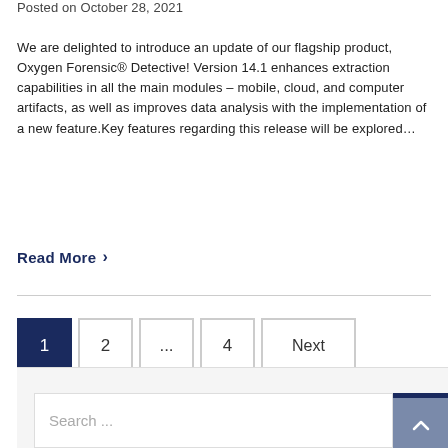Posted on October 28, 2021
We are delighted to introduce an update of our flagship product, Oxygen Forensic® Detective! Version 14.1 enhances extraction capabilities in all the main modules – mobile, cloud, and computer artifacts, as well as improves data analysis with the implementation of a new feature.Key features regarding this release will be explored…
Read More ›
1
2
...
4
Next
Search ...